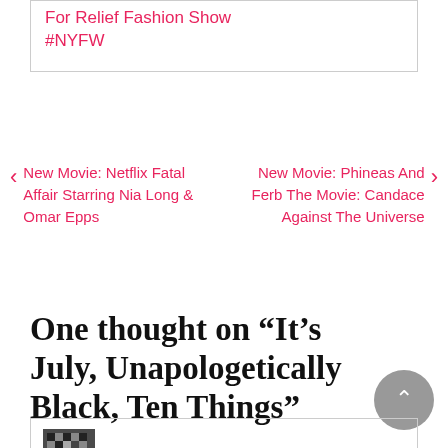For Relief Fashion Show #NYFW
New Movie: Netflix Fatal Affair Starring Nia Long & Omar Epps
New Movie: Phineas And Ferb The Movie: Candace Against The Universe
One thought on “It’s July, Unapologetically Black, Ten Things”
Veronica Kovach says: